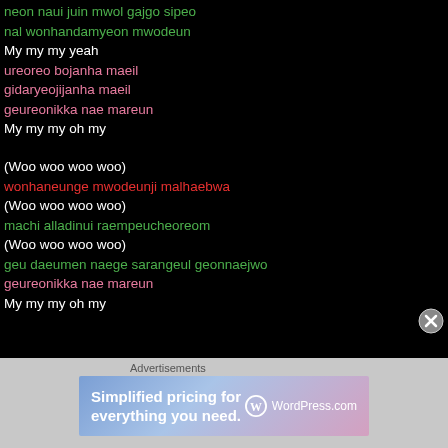neon naui juin mwol gajgo sipeo
nal wonhandamyeon mwodeun
My my my yeah
ureoreo bojanha maeil
gidaryeojijanha maeil
geureonikka nae mareun
My my my oh my
(Woo woo woo woo)
wonhaneunge mwodeunji malhaebwa
(Woo woo woo woo)
machi alladinui raempeucheoreom
(Woo woo woo woo)
geu daeumen naege sarangeul geonnaejwo
geureonikka nae mareun
My my my oh my
[Figure (infographic): WordPress.com advertisement banner: Simplified pricing for everything you need.]